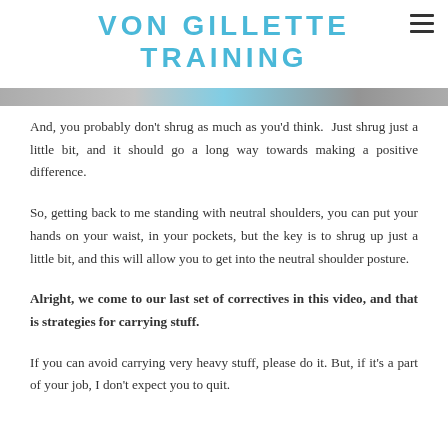VON GILLETTE TRAINING
[Figure (photo): Cropped image strip showing a person demonstrating posture]
And, you probably don't shrug as much as you'd think.  Just shrug just a little bit, and it should go a long way towards making a positive difference.
So, getting back to me standing with neutral shoulders, you can put your hands on your waist, in your pockets, but the key is to shrug up just a little bit, and this will allow you to get into the neutral shoulder posture.
Alright, we come to our last set of correctives in this video, and that is strategies for carrying stuff.
If you can avoid carrying very heavy stuff, please do it. But, if it's a part of your job, I don't expect you to quit.